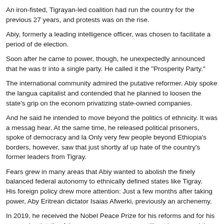An iron-fisted, Tigrayan-led coalition had run the country for the previous 27 years, and protests was on the rise.
Abiy, formerly a leading intelligence officer, was chosen to facilitate a period of de... election.
Soon after he came to power, though, he unexpectedly announced that he was tr... into a single party. He called it the "Prosperity Party."
The international community admired the putative reformer. Abiy spoke the langua... capitalist and contended that he planned to loosen the state's grip on the econom... privatizing state-owned companies.
And he said he intended to move beyond the politics of ethnicity. It was a messag... hear. At the same time, he released political prisoners, spoke of democracy and la... Only very few people beyond Ethiopia's borders, however, saw that just shortly af... up hate of the country's former leaders from Tigray.
Fears grew in many areas that Abiy wanted to abolish the finely balanced federal... autonomy to ethnically defined states like Tigray.
His foreign policy drew more attention: Just a few months after taking power, Aby... Eritrean dictator Isaias Afwerki, previously an archenemy.
In 2019, he received the Nobel Peace Prize for his reforms and for his rapproche... details of the peace agreement are still not known and the border between the tw... few months.
Critics claim that Abiy used the supposed reconciliation with Eritrea as a maneuve... enemy, the Tigray People's Liberation Front.
"Simple Narratives"
Ethiopian historian Wolbert Smith, who has been working for a decade at Ethiopia...